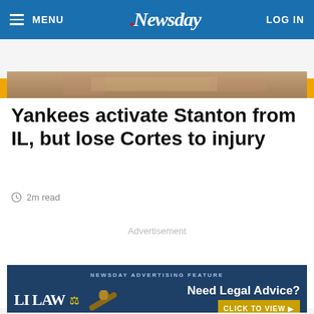MENU | Newsday | LOG IN
SUBSCRIBE $1 FOR 5 MONTHS
[Figure (photo): Partial image strip showing a crowd or sports scene]
Yankees activate Stanton from IL, but lose Cortes to injury
2m read
Advertisement
[Figure (other): LI LAW advertisement banner: Need Legal Advice? CLICK TO VIEW. Newsday Advertising Feature.]